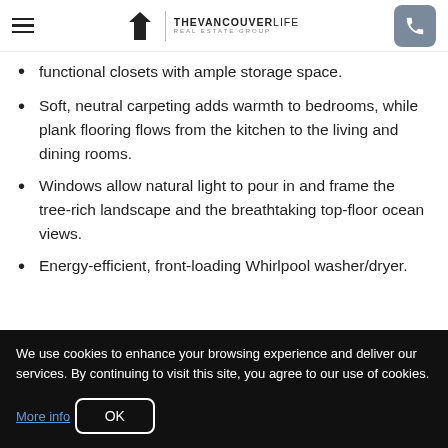THE VANCOUVER LIFE REAL ESTATE GROUP
functional closets with ample storage space.
Soft, neutral carpeting adds warmth to bedrooms, while plank flooring flows from the kitchen to the living and dining rooms.
Windows allow natural light to pour in and frame the tree-rich landscape and the breathtaking top-floor ocean views.
Energy-efficient, front-loading Whirlpool washer/dryer.
We use cookies to enhance your browsing experience and deliver our services. By continuing to visit this site, you agree to our use of cookies. More info
OK